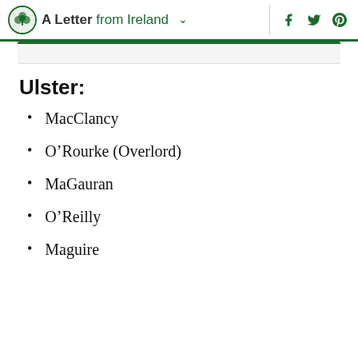A Letter from Ireland
Ulster:
MacClancy
O'Rourke (Overlord)
MaGauran
O'Reilly
Maguire